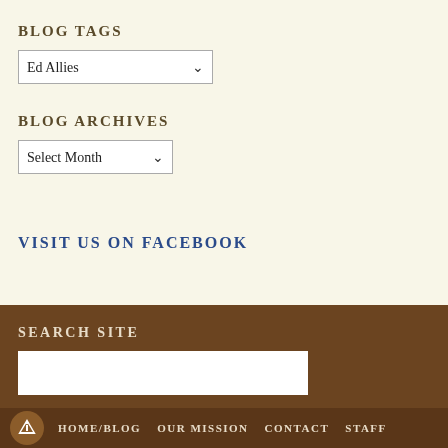BLOG TAGS
Ed Allies (dropdown)
BLOG ARCHIVES
Select Month (dropdown)
VISIT US ON FACEBOOK
SEARCH SITE
(search input field)
HOME/BLOG  OUR MISSION  CONTACT  STAFF